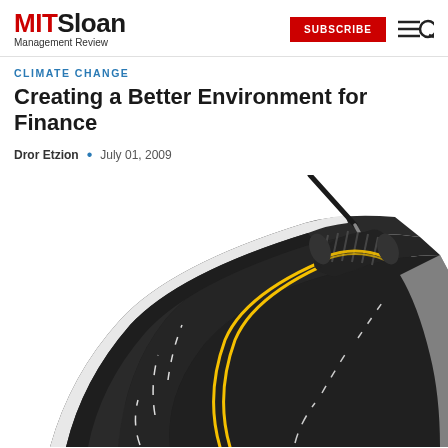MIT Sloan Management Review | SUBSCRIBE
CLIMATE CHANGE
Creating a Better Environment for Finance
Dror Etzion · July 01, 2009
[Figure (illustration): A paint roller rolling out a multi-lane highway road on white background, illustrating the concept of creating or paving the way for finance in the context of climate change.]